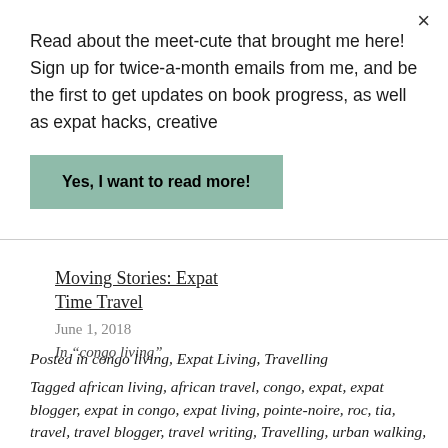Read about the meet-cute that brought me here! Sign up for twice-a-month emails from me, and be the first to get updates on book progress, as well as expat hacks, creative
Yes, I want to read more!
Moving Stories: Expat Time Travel
June 1, 2018
In “congo living”
Posted in congo living, Expat Living, Travelling
Tagged african living, african travel, congo, expat, expat blogger, expat in congo, expat living, pointe-noire, roc, tia, travel, travel blogger, travel writing, Travelling, urban walking, view from the streets, word sketch, writing